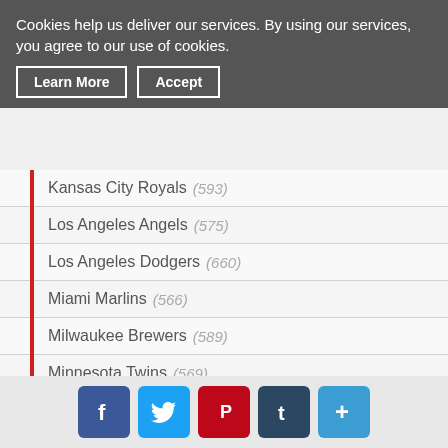Cookies help us deliver our services. By using our services, you agree to our use of cookies.
Kansas City Royals (593)
Los Angeles Angels (575)
Los Angeles Dodgers (660)
Miami Marlins (566)
Milwaukee Brewers (589)
Minnesota Twins (569)
New York Yankees (495)
New York Mets (580)
Oakland Athletics (662)
Social share buttons: Facebook, Twitter, Pinterest, Tumblr, More